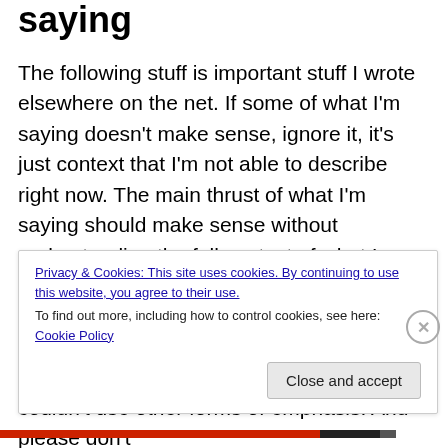saying
The following stuff is important stuff I wrote elsewhere on the net. If some of what I'm saying doesn't make sense, ignore it, it's just context that I'm not able to describe right now. The main thrust of what I'm saying should make sense without understanding the full context of what I wrote. And I can't rewrite it all right now for this blog. So the following is pretty much as I wrote it. Also sorry for all caps in places, it was because where I was writing it I couldn't use other forms of emphasis. And please don't
Privacy & Cookies: This site uses cookies. By continuing to use this website, you agree to their use.
To find out more, including how to control cookies, see here: Cookie Policy
Close and accept